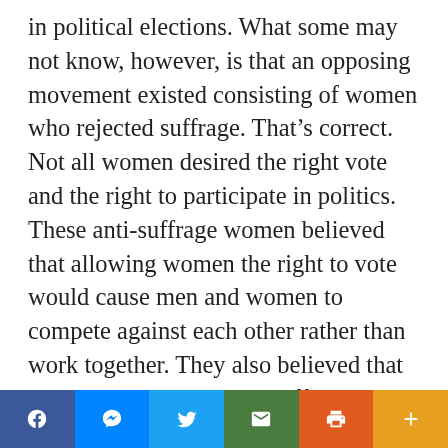in political elections. What some may not know, however, is that an opposing movement existed consisting of women who rejected suffrage. That's correct. Not all women desired the right vote and the right to participate in politics. These anti-suffrage women believed that allowing women the right to vote would cause men and women to compete against each other rather than work together. They also believed that it would distort the clear differences in God's design for men and women. Men and women are equal, but have different gifting to accomplish their different roles. They viewed the privilege to stay home and raise children as an honor and considered participation and involvement in the public sphere as a burden. The president of the anti-suffrage association, Josephine Dodge, put it best when she said “[the woman] is worthily employed in other departments of life, and
[Figure (infographic): Social sharing bar with six buttons: Facebook (blue), Messenger (blue), Twitter (light blue), Email (green), Print (orange), Plus/More (amber)]